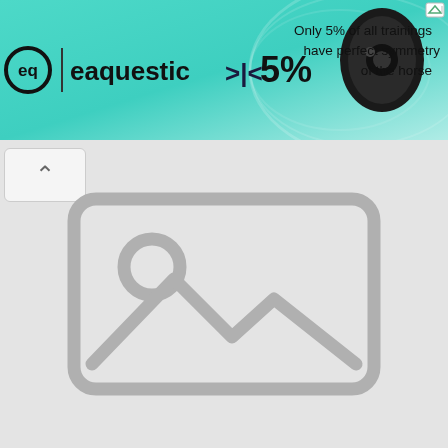[Figure (screenshot): Banner advertisement for 'eaquestic' brand showing logo on left, arrows pointing to '5% ' text in center, a black earbuds/device product image, and text on right reading 'Only 5% of all trainings have perfect symmetry of the horse'. Teal/mint gradient background. Ad indicator icon in top right corner.]
[Figure (screenshot): A collapsed/minimized UI panel with an upward caret/chevron button on the left and a large gray placeholder image icon (broken image symbol) centered in the gray content area below the banner.]